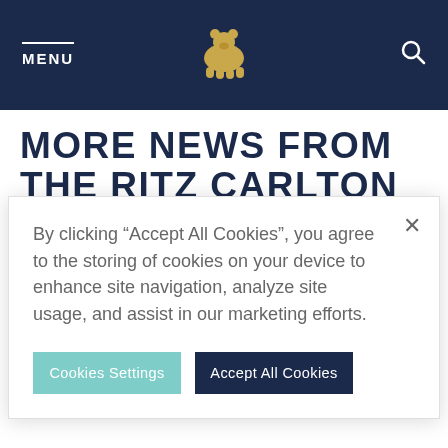MENU
[Figure (logo): Gold bear logo centered in dark navy navigation bar]
MORE NEWS FROM THE RITZ CARLTON GOLF CLUB, DOVE MOUNTAIN
FEBRUARY...
By clicking “Accept All Cookies”, you agree to the storing of cookies on your device to enhance site navigation, analyze site usage, and assist in our marketing efforts.
Cookies Settings    Accept All Cookies